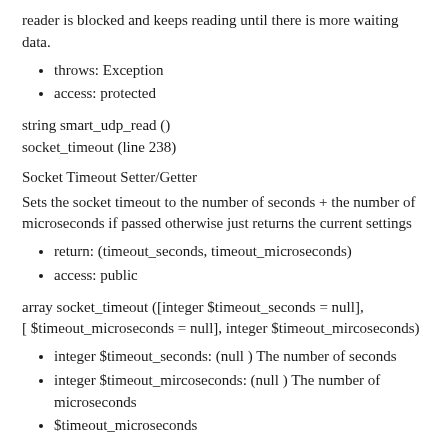reader is blocked and keeps reading until there is more waiting data.
throws: Exception
access: protected
string smart_udp_read ()
socket_timeout (line 238)
Socket Timeout Setter/Getter
Sets the socket timeout to the number of seconds + the number of microseconds if passed otherwise just returns the current settings
return: (timeout_seconds, timeout_microseconds)
access: public
array socket_timeout ([integer $timeout_seconds = null],
[ $timeout_microseconds = null], integer $timeout_mircoseconds)
integer $timeout_seconds: (null ) The number of seconds
integer $timeout_mircoseconds: (null ) The number of microseconds
$timeout_microseconds
source_read (line 425)